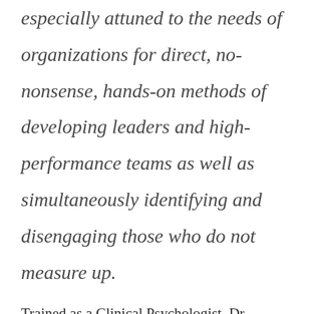especially attuned to the needs of organizations for direct, no-nonsense, hands-on methods of developing leaders and high-performance teams as well as simultaneously identifying and disengaging those who do not measure up.
Trained as a Clinical Psychologist, Dr. Rojdev began her career in enhancing individual performance in 1996. In 2005, Dr.